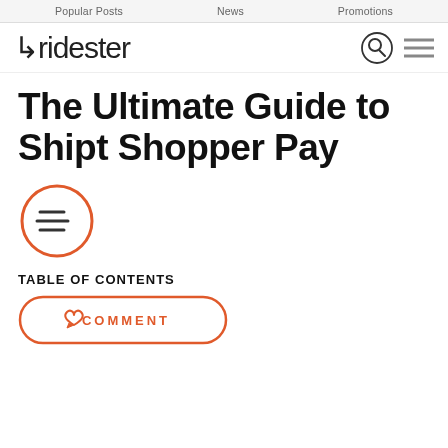Popular Posts   News   Promotions
[Figure (logo): Ridester logo with stylized arrow-r and letter forms, plus search icon circle and hamburger menu]
The Ultimate Guide to Shipt Shopper Pay
[Figure (illustration): Orange circle with three horizontal lines (table of contents icon)]
TABLE OF CONTENTS
[Figure (other): Orange outlined pill button with heart/comment icon and COMMENT label]